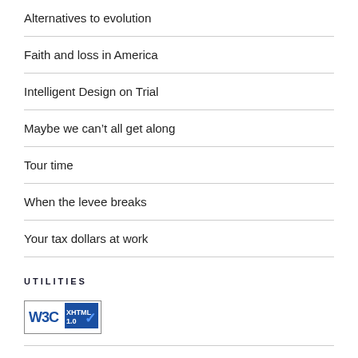Alternatives to evolution
Faith and loss in America
Intelligent Design on Trial
Maybe we can't all get along
Tour time
When the levee breaks
Your tax dollars at work
UTILITIES
[Figure (logo): W3C XHTML 1.0 validation badge with blue checkmark]